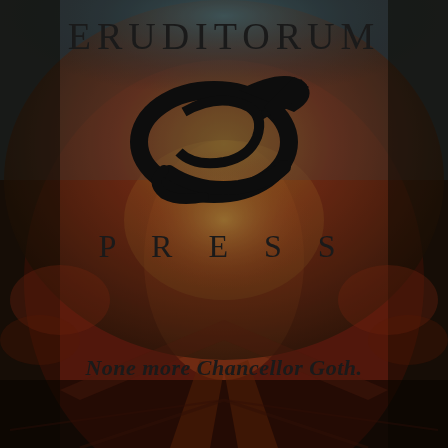[Figure (logo): Eruditorum Press logo page with stylized 'EP' monogram logo on a background depicting a William Blake-style figure with outstretched arms, reddish-brown and teal color wash]
ERUDITORUM
PRESS
None more Chancellor Goth.